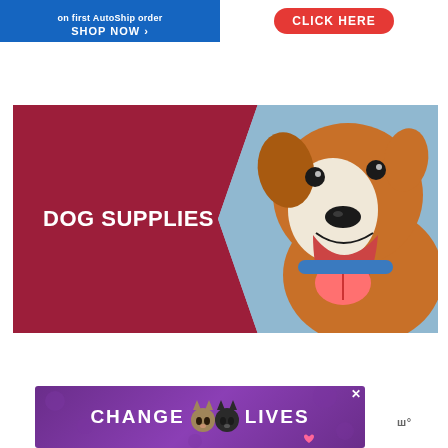[Figure (infographic): Blue banner ad with 'SHOP NOW' button on the left and a red 'CLICK HERE' button on the right]
[Figure (infographic): Dog supplies promotional banner with dark red background, text 'DOG SUPPLIES' on left, and close-up photo of a happy brown and white dog on the right in a hexagonal cutout]
[Figure (infographic): Bottom ad banner with purple background showing 'CHANGE LIVES' text with two cat face icons, a close X button, and a Whiskas logo to the right]